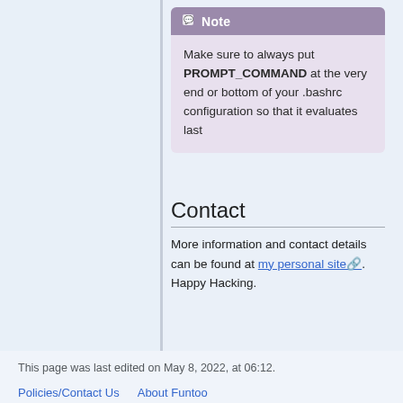Note
Make sure to always put PROMPT_COMMAND at the very end or bottom of your .bashrc configuration so that it evaluates last
Contact
More information and contact details can be found at my personal site. Happy Hacking.
This page was last edited on May 8, 2022, at 06:12.
Policies/Contact Us    About Funtoo
Disclaimers